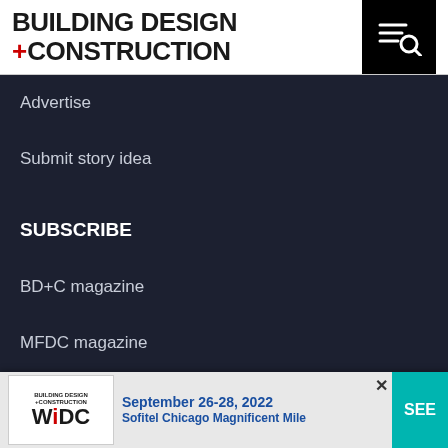[Figure (logo): Building Design + Construction magazine logo with red plus sign]
Advertise
Submit story idea
SUBSCRIBE
BD+C magazine
MFDC magazine
Daily 5 newsletter
Multifamily newsletter
HorizonT…
[Figure (infographic): Advertisement overlay: Building Design + Construction WIDC event, September 26-28, 2022, Sofitel Chicago Magnificent Mile, with SEE button]